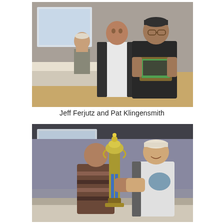[Figure (photo): Two men posing indoors at an event venue, one in a white fishing tournament jersey, the other in a black long-sleeve shirt holding a plaque. A third person is visible in the background near a table with a white tablecloth.]
Jeff Ferjutz and Pat Klingensmith
[Figure (photo): Two men posing indoors holding a large trophy with blue ribbons. One man wears a patterned sweater, the other wears a white fishing tournament jersey. A blue projection screen and tables are visible in the background.]